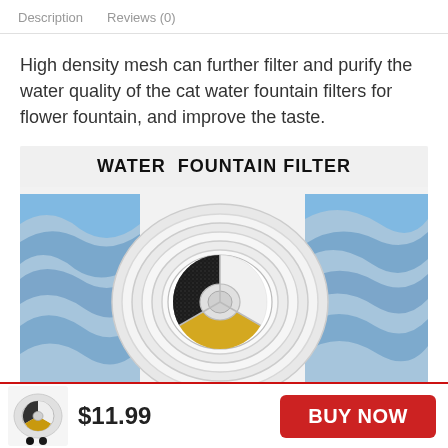Description   Reviews (0)
High density mesh can further filter and purify the water quality of the cat water fountain filters for flower fountain, and improve the taste.
[Figure (photo): Product image showing a circular water fountain filter with black activated carbon, yellow ion exchange resin sections, white plastic casing, and water splashing in the background. Title overlay reads WATER FOUNTAIN FILTER.]
$11.99
BUY NOW